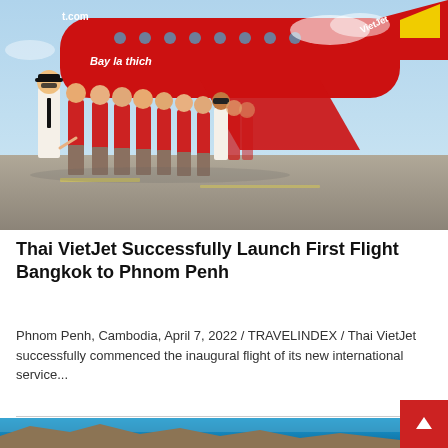[Figure (photo): Thai VietJet airline staff — a pilot in white uniform and black tie, and a row of female flight attendants in red tops and khaki shorts — posing in front of a red VietJet aircraft on the tarmac. The text 'vietjet.com' and 'Bay la thich' is visible on the plane.]
Thai VietJet Successfully Launch First Flight Bangkok to Phnom Penh
Phnom Penh, Cambodia, April 7, 2022 / TRAVELINDEX / Thai VietJet successfully commenced the inaugural flight of its new international service...
[Figure (photo): Partial view of a coastal or island aerial photo with blue sky, showing the top edge of the image only.]